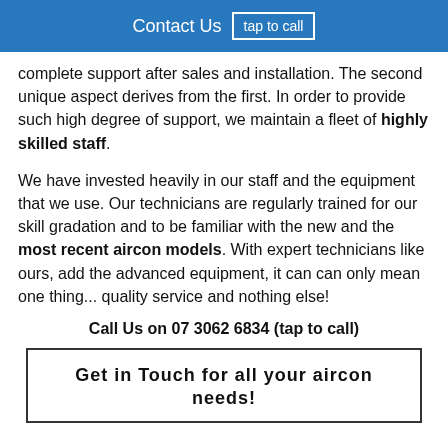Contact Us  tap to call
complete support after sales and installation. The second unique aspect derives from the first. In order to provide such high degree of support, we maintain a fleet of highly skilled staff.
We have invested heavily in our staff and the equipment that we use. Our technicians are regularly trained for our skill gradation and to be familiar with the new and the most recent aircon models. With expert technicians like ours, add the advanced equipment, it can can only mean one thing... quality service and nothing else!
Call Us on 07 3062 6834 (tap to call)
Get in Touch for all your aircon needs!